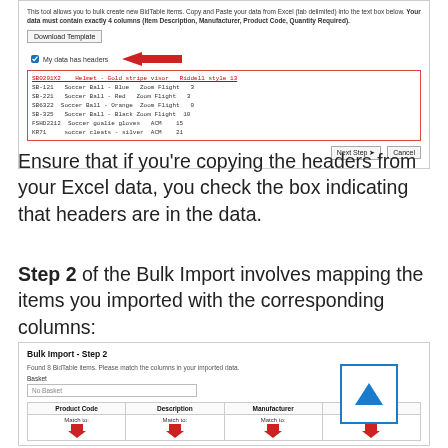[Figure (screenshot): Screenshot of BidTable Bulk Import Step 1 interface showing Download Template button, 'My data has headers' checkbox with red arrow, data text area with soccer items, and Next Step/Cancel buttons]
Ensure that if you're copying the headers from your Excel data, you check the box indicating that headers are in the data.
Step 2 of the Bulk Import involves mapping the items you imported with the corresponding columns:
[Figure (screenshot): Screenshot of Bulk Import Step 2 interface showing 'Found 8 BidTable items. Please match the columns in your imported data.' with Basket field, and columns: Product Code, Description, Manufacturer, Qty Total each with 'Match to:' labels and red arrows, plus a blue scroll-up button]